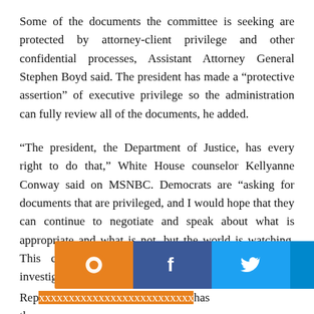Some of the documents the committee is seeking are protected by attorney-client privilege and other confidential processes, Assistant Attorney General Stephen Boyd said. The president has made a "protective assertion" of executive privilege so the administration can fully review all of the documents, he added.
“The president, the Department of Justice, has every right to do that,” White House counselor Kellyanne Conway said on MSNBC. Democrats are “asking for documents that are privileged, and I would hope that they can continue to negotiate and speak about what is appropriate and what is not, but the world is watching. This country sees that they’d rather continue to investigate than legislate.”
[Figure (infographic): Social media share bar with icons: Qlip (orange), Facebook (dark blue), Twitter (light blue), Telegram (navy), WhatsApp (green), Reddit (red-orange), Email (gray), Share (light green)]
Rep... has thu... ...nts